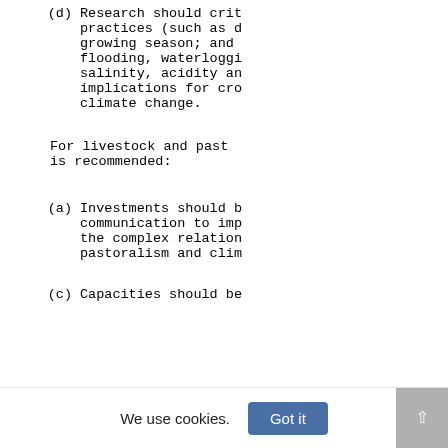(d)    Research should crit practices (such as d growing season; and flooding, waterloggi salinity, acidity an implications for cro climate change.
For livestock and past is recommended:
(a)    Investments should b communication to imp the complex relation pastoralism and clim
(c)    Capacities should be